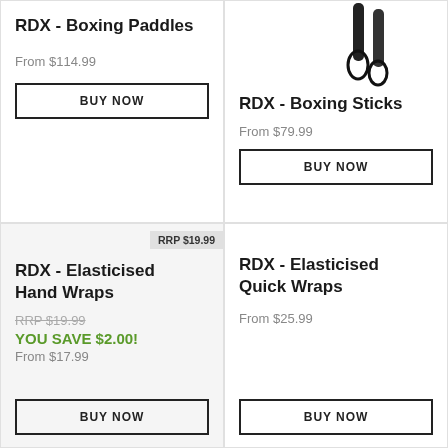RDX - Boxing Paddles
From $114.99
BUY NOW
[Figure (photo): Partial image of black boxing sticks with wrist loops, cropped at top]
RDX - Boxing Sticks
From $79.99
BUY NOW
RRP $19.99
RDX - Elasticised Hand Wraps
RRP $19.99
YOU SAVE $2.00!
From $17.99
BUY NOW
RDX - Elasticised Quick Wraps
From $25.99
BUY NOW